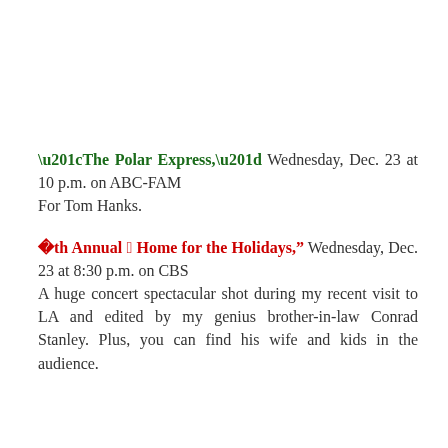“The Polar Express,” Wednesday, Dec. 23 at 10 p.m. on ABC-FAM
For Tom Hanks.
’11th Annual “A Home for the Holidays,” Wednesday, Dec. 23 at 8:30 p.m. on CBS
A huge concert spectacular shot during my recent visit to LA and edited by my genius brother-in-law Conrad Stanley. Plus, you can find his wife and kids in the audience.